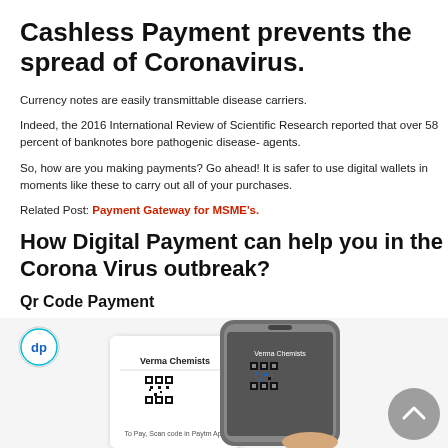Cashless Payment prevents the spread of Coronavirus.
Currency notes are easily transmittable disease carriers.
Indeed, the 2016 International Review of Scientific Research reported that over 58 percent of banknotes bore pathogenic disease- agents.
So, how are you making payments? Go ahead! It is safer to use digital wallets in moments like these to carry out all of your purchases.
Related Post: Payment Gateway for MSME's.
How Digital Payment can help you in the Corona Virus outbreak?
Qr Code Payment
[Figure (photo): Illustration of QR code payment: a dp-logo circle icon in top left, a white card showing Verma Chemists QR code, and a smartphone held by a hand displaying the Verma Chemists QR code payment screen. A grey scroll-up button is in the bottom right.]